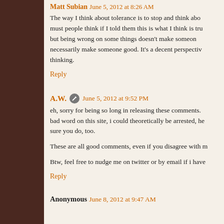Matt Subian June 5, 2012 at 8:26 AM
The way I think about tolerance is to stop and think about what must people think if I told them this is what I think is true... but being wrong on some things doesn't make someone... necessarily make someone good. It's a decent perspective thinking.
Reply
A.W. June 5, 2012 at 9:52 PM
eh, sorry for being so long in releasing these comments. bad word on this site, i could theoretically be arrested, he sure you do, too.
These are all good comments, even if you disagree with me
Btw, feel free to nudge me on twitter or by email if i have
Reply
Anonymous June 8, 2012 at 9:47 AM